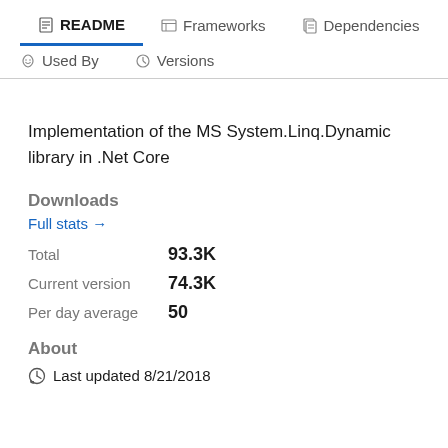README | Frameworks | Dependencies | Used By | Versions
Implementation of the MS System.Linq.Dynamic library in .Net Core
Downloads
Full stats →
Total  93.3K
Current version  74.3K
Per day average  50
About
Last updated 8/21/2018